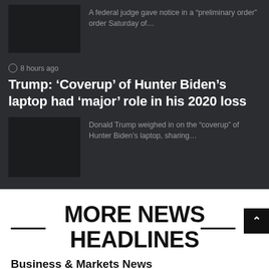A federal judge gave notice in a “preliminary order” order Saturday of…
⏱ 8 hours ago
Trump: ‘Coverup’ of Hunter Biden’s laptop had ‘major’ role in his 2020 loss
Donald Trump weighed in on the “coverup” of Hunter Biden’s laptop, sharing…
MORE NEWS HEADLINES
Business & Markets News